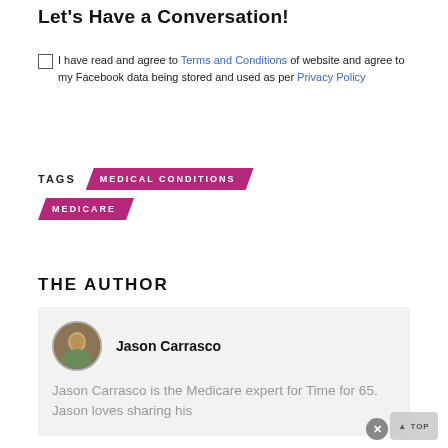Let's Have a Conversation!
I have read and agree to Terms and Conditions of website and agree to my Facebook data being stored and used as per Privacy Policy
TAGS   MEDICAL CONDITIONS   MEDICARE
THE AUTHOR
Jason Carrasco
Jason Carrasco is the Medicare expert for Time for 65. Jason loves sharing his